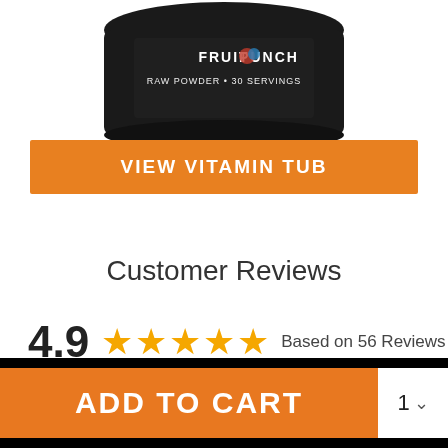[Figure (photo): Fruit Punch Raw Powder supplement tub, dark container with colorful label, showing RAW POWDER + 30 SERVINGS, partially visible at top of page]
VIEW VITAMIN TUB
Customer Reviews
4.9 ★★★★★ Based on 56 Reviews
ADD TO CART
1 ▼